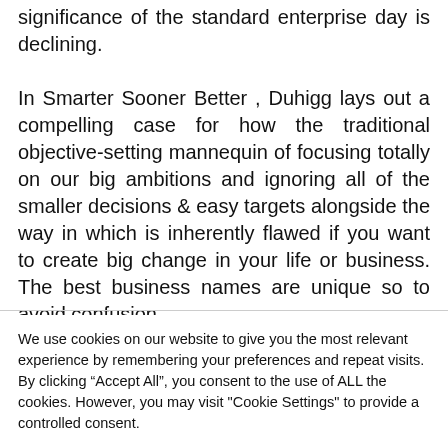significance of the standard enterprise day is declining.
In Smarter Sooner Better , Duhigg lays out a compelling case for how the traditional objective-setting mannequin of focusing totally on our big ambitions and ignoring all of the smaller decisions & easy targets alongside the way in which is inherently flawed if you want to create big change in your life or business. The best business names are unique so to avoid confusion.
We use cookies on our website to give you the most relevant experience by remembering your preferences and repeat visits. By clicking “Accept All”, you consent to the use of ALL the cookies. However, you may visit "Cookie Settings" to provide a controlled consent.